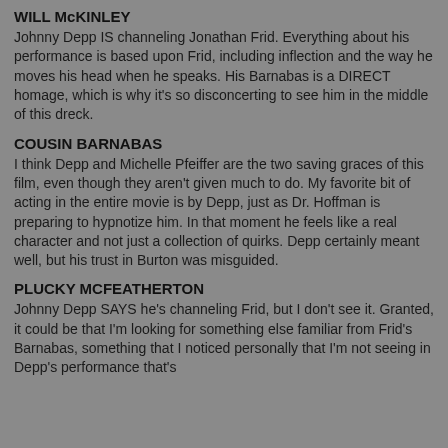WILL McKINLEY
Johnny Depp IS channeling Jonathan Frid. Everything about his performance is based upon Frid, including inflection and the way he moves his head when he speaks. His Barnabas is a DIRECT homage, which is why it's so disconcerting to see him in the middle of this dreck.
COUSIN BARNABAS
I think Depp and Michelle Pfeiffer are the two saving graces of this film, even though they aren't given much to do. My favorite bit of acting in the entire movie is by Depp, just as Dr. Hoffman is preparing to hypnotize him. In that moment he feels like a real character and not just a collection of quirks. Depp certainly meant well, but his trust in Burton was misguided.
PLUCKY MCFEATHERTON
Johnny Depp SAYS he's channeling Frid, but I don't see it. Granted, it could be that I'm looking for something else familiar from Frid's Barnabas, something that I noticed personally that I'm not seeing in Depp's performance that's